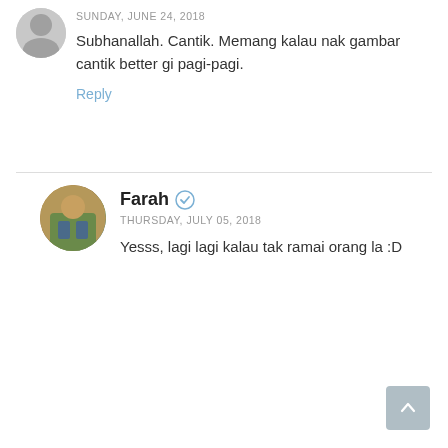SUNDAY, JUNE 24, 2018
Subhanallah. Cantik. Memang kalau nak gambar cantik better gi pagi-pagi.
Reply
Farah
THURSDAY, JULY 05, 2018
Yesss, lagi lagi kalau tak ramai orang la :D